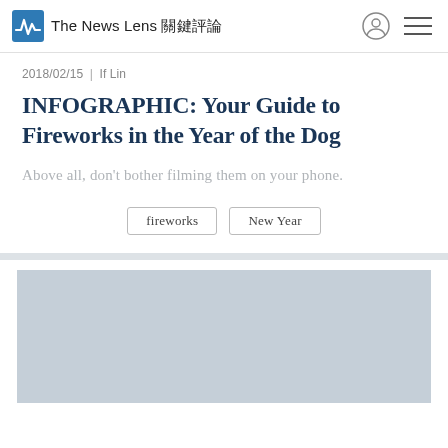The News Lens 關鍵評論
2018/02/15 | If Lin
INFOGRAPHIC: Your Guide to Fireworks in the Year of the Dog
Above all, don't bother filming them on your phone.
fireworks
New Year
[Figure (photo): Light grey placeholder image area below the article header section]